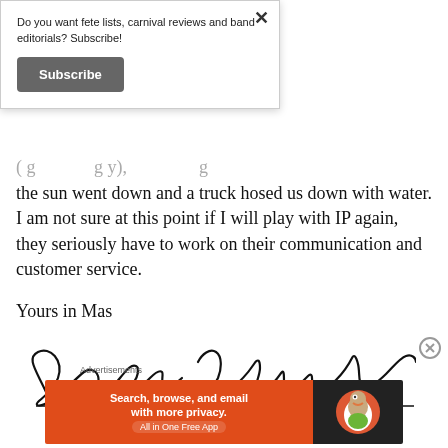Do you want fete lists, carnival reviews and band editorials? Subscribe!
[Figure (other): Subscribe button - dark gray rounded rectangle button with white bold text 'Subscribe']
(partial/clipped line) ...g ...g the sun went down and a truck hosed us down with water. I am not sure at this point if I will play with IP again, they seriously have to work on their communication and customer service.
Yours in Mas
[Figure (illustration): Handwritten cursive signature reading 'Global Carnivalist']
Advertisements
[Figure (screenshot): DuckDuckGo advertisement banner: orange left side with text 'Search, browse, and email with more privacy. All in One Free App', dark right side with DuckDuckGo duck logo]